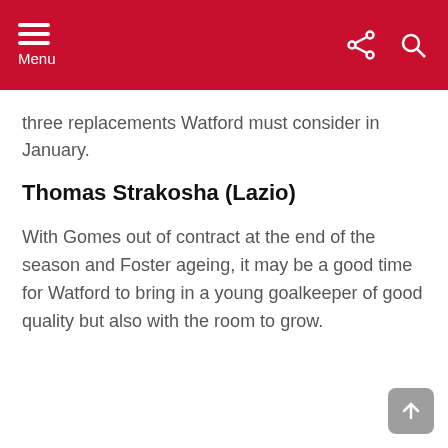Menu
three replacements Watford must consider in January.
Thomas Strakosha (Lazio)
With Gomes out of contract at the end of the season and Foster ageing, it may be a good time for Watford to bring in a young goalkeeper of good quality but also with the room to grow.